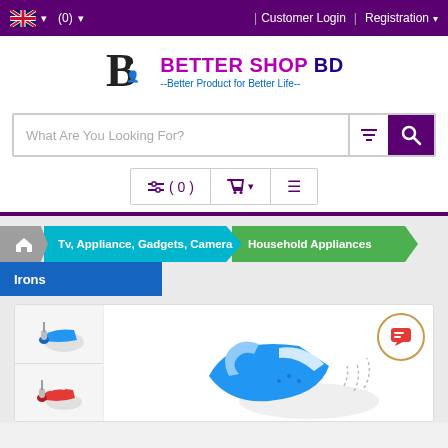UK flag | (0) | Customer Login | Registration
[Figure (logo): Better Shop BD logo with stylized B icon]
BETTER SHOP BD --Better Product for Better Life--
What Are You Looking For?
⇌( 0 ) 🛒 ≡
Tv, Appliance, Gadgets, Camera > Household Appliances > Irons
[Figure (photo): Iron product images - two thumbnail images of irons on left, main large iron image on right]